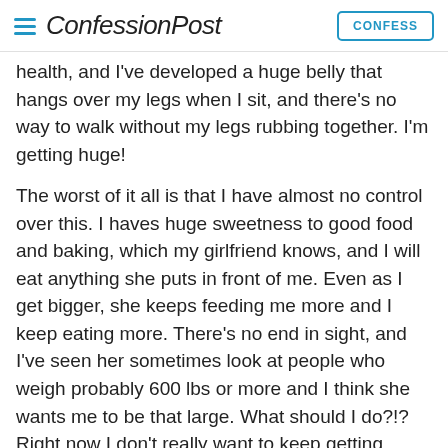ConfessionPost  CONFESS
health, and I've developed a huge belly that hangs over my legs when I sit, and there's no way to walk without my legs rubbing together. I'm getting huge!
The worst of it all is that I have almost no control over this. I haves huge sweetness to good food and baking, which my girlfriend knows, and I will eat anything she puts in front of me. Even as I get bigger, she keeps feeding me more and I keep eating more. There's no end in sight, and I've seen her sometimes look at people who weigh probably 600 lbs or more and I think she wants me to be that large. What should I do?!? Right now I don't really want to keep getting fatter, but every day my resistance to her gets weaker and I think that given time, I'm going to be a blob of blubber and fat. I need help!